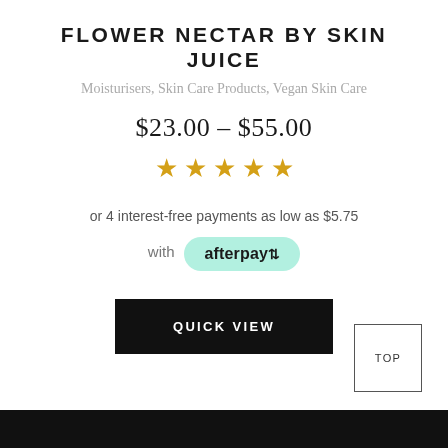FLOWER NECTAR BY SKIN JUICE
Moisturisers, Skin Care Products, Vegan Skin Care
$23.00 – $55.00
[Figure (other): Five gold star rating icons]
or 4 interest-free payments as low as $5.75 with afterpay
QUICK VIEW
TOP